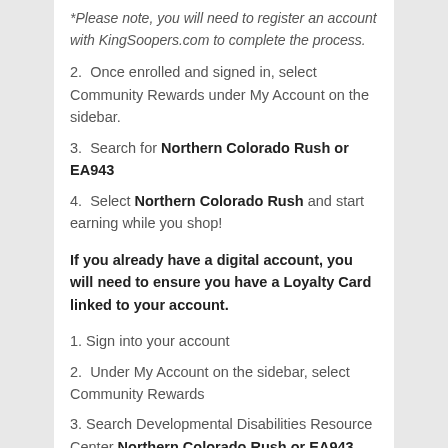*Please note, you will need to register an account with KingSoopers.com to complete the process.
2.  Once enrolled and signed in, select Community Rewards under My Account on the sidebar.
3.  Search for Northern Colorado Rush or EA943
4.  Select Northern Colorado Rush and start earning while you shop!
If you already have a digital account, you will need to ensure you have a Loyalty Card linked to your account.
1. Sign into your account
2.  Under My Account on the sidebar, select Community Rewards
3. Search Developmental Disabilities Resource Center Northern Colorado Rush or EA943
4.  Select Northern Colorado Rush and start